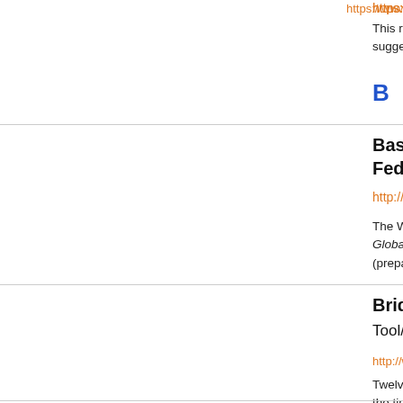https://www.capacityproject.org/images/stories/files/prom...
This resource paper focuses on a collaboration scheme to suggestions for addressing challenges and effective reten...
B
Basic Medical Education: WFME Global Standards for Quality Improvement. World Federation for Medical Education, 2003
http://www.wfme.org/standards/bme
The World Federation for Medical Education (WFME) worked to develop Global Standards (prepared with partner organizations, in... medical education, postgraduate medical education and c...
Bridges to Health Worker Employment (Tool/Guideline)
http://www.capacityplus.org/bridges-health-worker-emplo...
Twelve suggestions that health professional schools, mini... the time between graduation and employment.